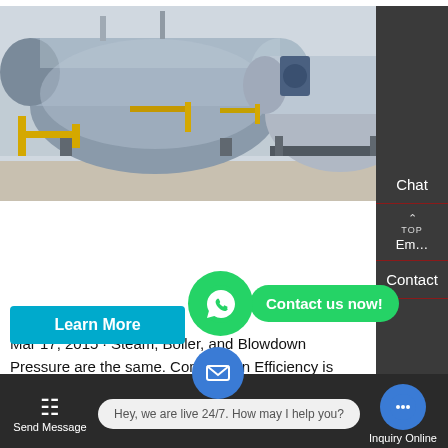[Figure (photo): Industrial boilers in a facility — two large horizontal cylindrical boilers with yellow piping and blue/grey equipment in the background on a concrete floor.]
Steam Calculators: Boiler Calculator
Mar 17, 2015 · Steam, Boiler, and Blowdown Pressure are the same. Combustion Efficiency is the % of fuel energy that is directly added to the feedwater and not otherwise lost or used. Blowdown Rate is % of incoming feedwater mass flow rate that leaves the boiler as a saturated liquid at boiler pressure.